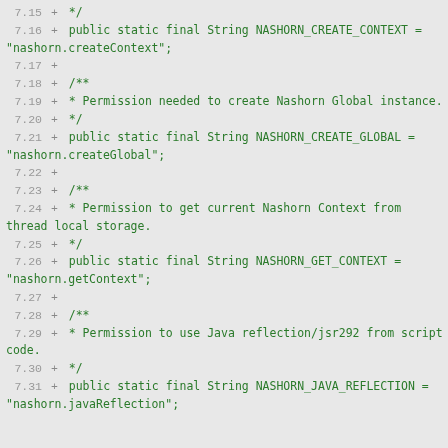Code diff showing Java source lines 7.15 through 7.31, with additions of string constants for Nashorn permissions: NASHORN_CREATE_CONTEXT, NASHORN_CREATE_GLOBAL, NASHORN_GET_CONTEXT, NASHORN_JAVA_REFLECTION.